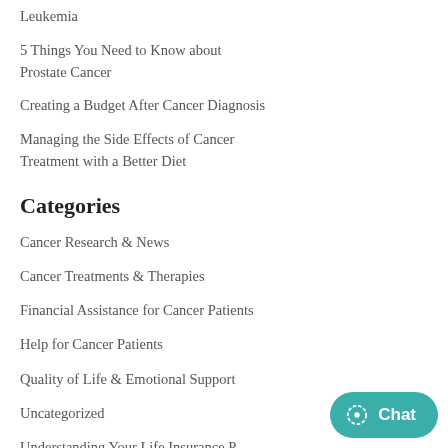Leukemia
5 Things You Need to Know about Prostate Cancer
Creating a Budget After Cancer Diagnosis
Managing the Side Effects of Cancer Treatment with a Better Diet
Categories
Cancer Research & News
Cancer Treatments & Therapies
Financial Assistance for Cancer Patients
Help for Cancer Patients
Quality of Life & Emotional Support
Uncategorized
Understanding Your Life Insurance P…
Recent Comments